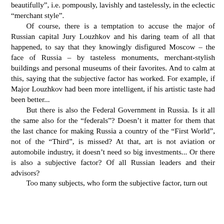beautifully", i.e. pompously, lavishly and tastelessly, in the eclectic “merchant style”.

Of course, there is a temptation to accuse the major of Russian capital Jury Louzhkov and his daring team of all that happened, to say that they knowingly disfigured Moscow – the face of Russia – by tasteless monuments, merchant-stylish buildings and personal museums of their favorites. And to calm at this, saying that the subjective factor has worked. For example, if Major Louzhkov had been more intelligent, if his artistic taste had been better...

But there is also the Federal Government in Russia. Is it all the same also for the “federals”? Doesn’t it matter for them that the last chance for making Russia a country of the “First World”, not of the “Third”, is missed? At that, art is not aviation or automobile industry, it doesn’t need so big investments... Or there is also a subjective factor? Of all Russian leaders and their advisors?

Too many subjects, who form the subjective factor, turn out